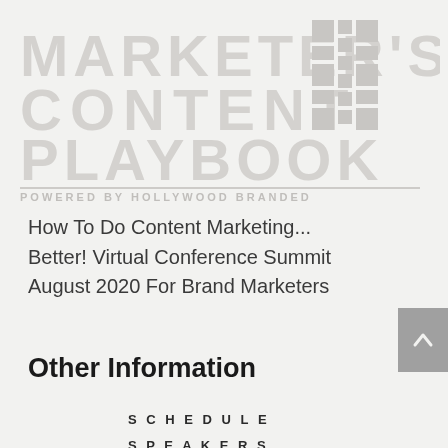[Figure (logo): Marketer's Content Playbook logo with decorative rectangle pattern, powered by Hollywood Branded]
How To Do Content Marketing... Better!  Virtual Conference Summit August 2020 For Brand Marketers
Other Information
Schedule
Speakers